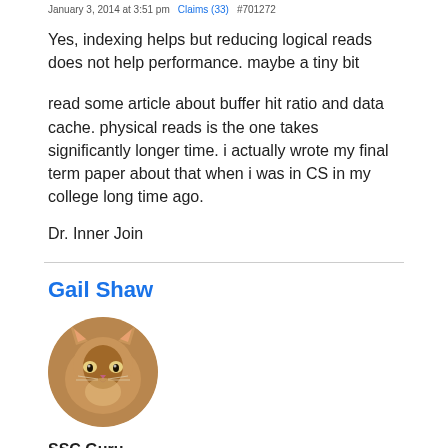January 3, 2014 at 3:51 pm   Claims (33)   #701272
Yes, indexing helps but reducing logical reads does not help performance. maybe a tiny bit
read some article about buffer hit ratio and data cache. physical reads is the one takes significantly longer time. i actually wrote my final term paper about that when i was in CS in my college long time ago.
Dr. Inner Join
Gail Shaw
[Figure (photo): Circular profile photo of a fluffy orange/tabby cat looking at the camera]
SSC Guru